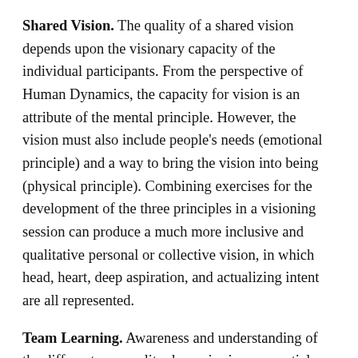Shared Vision. The quality of a shared vision depends upon the visionary capacity of the individual participants. From the perspective of Human Dynamics, the capacity for vision is an attribute of the mental principle. However, the vision must also include people's needs (emotional principle) and a way to bring the vision into being (physical principle). Combining exercises for the development of the three principles in a visioning session can produce a much more inclusive and qualitative personal or collective vision, in which head, heart, deep aspiration, and actualizing intent are all represented.
Team Learning. Awareness and understanding of the different personality dynamics is an essential ingredient in qualitative team functioning.
The team developing the human resource training